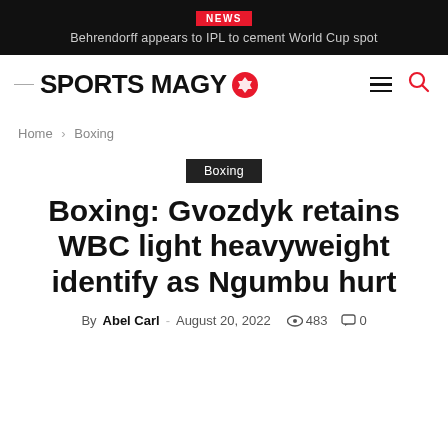NEWS
Behrendorff appears to IPL to cement World Cup spot
[Figure (logo): Sports Magy logo with soccer ball icon]
Home › Boxing
Boxing
Boxing: Gvozdyk retains WBC light heavyweight identify as Ngumbu hurt
By Abel Carl - August 20, 2022   483   0